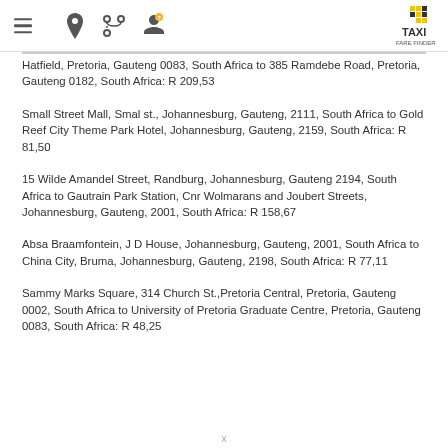Navigation header with menu, location, route, and profile icons, plus Taxi Fare Finder logo
Hatfield, Pretoria, Gauteng 0083, South Africa to 385 Ramdebe Road, Pretoria, Gauteng 0182, South Africa: R 209,53
Small Street Mall, Smal st., Johannesburg, Gauteng, 2111, South Africa to Gold Reef City Theme Park Hotel, Johannesburg, Gauteng, 2159, South Africa: R 81,50
15 Wilde Amandel Street, Randburg, Johannesburg, Gauteng 2194, South Africa to Gautrain Park Station, Cnr Wolmarans and Joubert Streets, Johannesburg, Gauteng, 2001, South Africa: R 158,67
Absa Braamfontein, J D House, Johannesburg, Gauteng, 2001, South Africa to China City, Bruma, Johannesburg, Gauteng, 2198, South Africa: R 77,11
Sammy Marks Square, 314 Church St.,Pretoria Central, Pretoria, Gauteng 0002, South Africa to University of Pretoria Graduate Centre, Pretoria, Gauteng 0083, South Africa: R 48,25
x